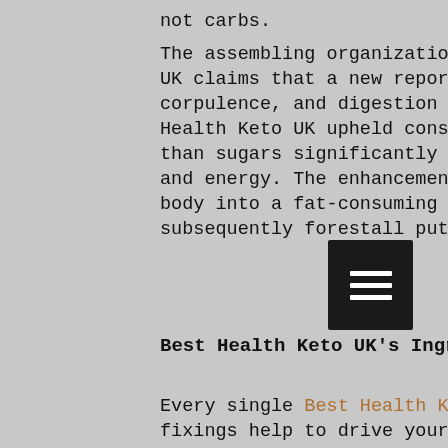not carbs. The assembling organization behind Best Health Keto UK claims that a new report distributed by diabetes, corpulence, and digestion diary found that Best Health Keto UK upheld consuming fat for energy rather than sugars significantly expanding weight reduction and energy. The enhancement is intended to drive your body into a fat-consuming state known as ketosis and subsequently forestall putting on more weight.
Best Health Keto UK's Ingredients
Every single Best Health Keto Dragon's Den Reviews UK fixings help to drive your body rapidly into the condition of ketosis. BHB or Beta-hydroxybutyrate is the primary